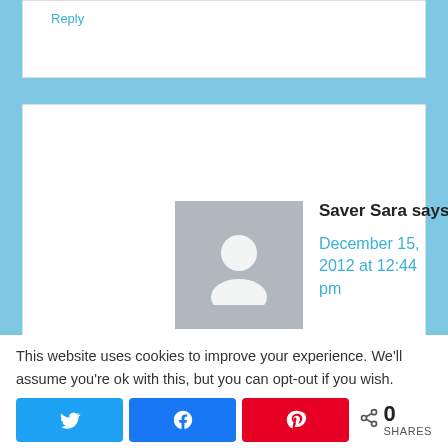Reply
Saver Sara says
December 15, 2012 at 12:44 pm
I'd love to win this because I'm starting to noticing my skin changing
This website uses cookies to improve your experience. We'll assume you're ok with this, but you can opt-out if you wish.
0 SHARES